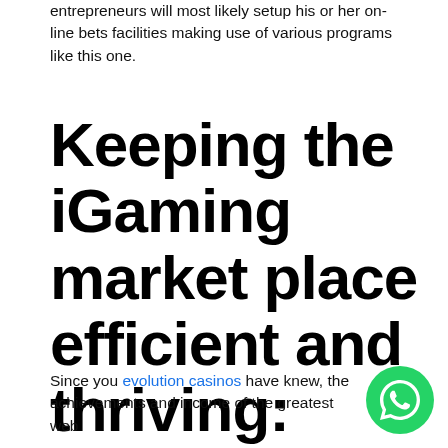entrepreneurs will most likely setup his or her on-line bets facilities making use of various programs like this one.
Keeping the iGaming market place efficient and thriving: Casino systems
Since you evolution casinos have knew, the achievements and income of the greatest web